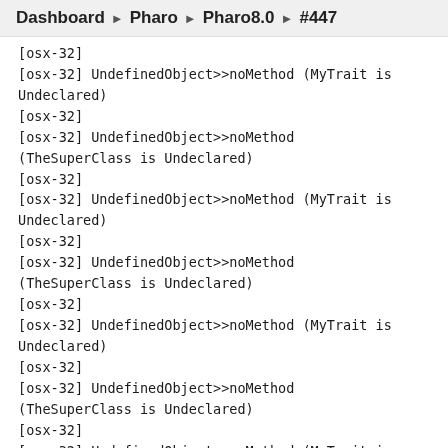Dashboard ▶ Pharo ▶ Pharo8.0 ▶ #447
[osx-32]
[osx-32] UndefinedObject>>noMethod (MyTrait is Undeclared)
[osx-32]
[osx-32] UndefinedObject>>noMethod (TheSuperClass is Undeclared)
[osx-32]
[osx-32] UndefinedObject>>noMethod (MyTrait is Undeclared)
[osx-32]
[osx-32] UndefinedObject>>noMethod (TheSuperClass is Undeclared)
[osx-32]
[osx-32] UndefinedObject>>noMethod (MyTrait is Undeclared)
[osx-32]
[osx-32] UndefinedObject>>noMethod (TheSuperClass is Undeclared)
[osx-32]
[osx-32] UndefinedObject>>noMethod (MyTrait is Undeclared)